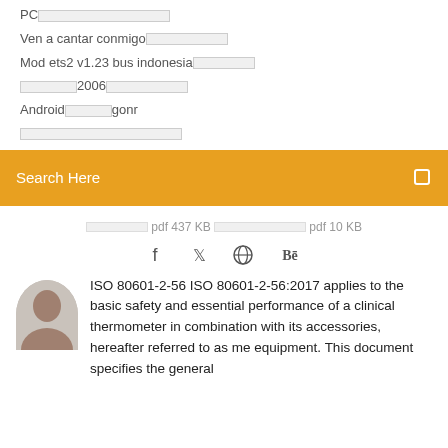PC□□□□□□□□□□□□□□□
Ven a cantar conmigo□□□□□□□□□
Mod ets2 v1.23 bus indonesia□□□□□□□
□□□□□□□□2006□□□□□□□□□□
Android□□□□□gonr
□□□□□□□□□□□□□□□□□
[Figure (screenshot): Orange search bar with 'Search Here' label and search icon on the right]
□□□□□□□□ pdf 437 KB □□□□□□□□□□□□□□ pdf 10 KB
[Figure (infographic): Social media icons: Facebook, Twitter, a globe/grid icon, and Behance]
ISO 80601-2-56 ISO 80601-2-56:2017 applies to the basic safety and essential performance of a clinical thermometer in combination with its accessories, hereafter referred to as me equipment. This document specifies the general